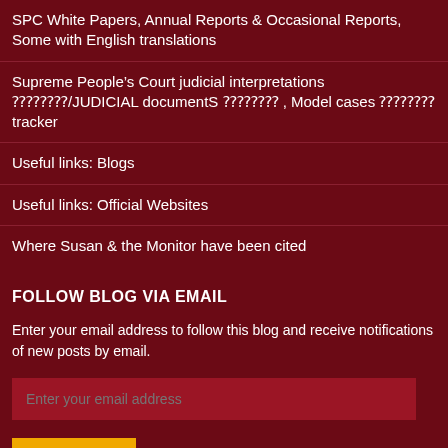SPC White Papers, Annual Reports & Occasional Reports, Some with English translations
Supreme People’s Court judicial interpretations ⁇⁇⁇⁇/JUDICIAL documentS ⁇⁇⁇⁇ , Model cases ⁇⁇⁇⁇ tracker
Useful links: Blogs
Useful links: Official Websites
Where Susan & the Monitor have been cited
FOLLOW BLOG VIA EMAIL
Enter your email address to follow this blog and receive notifications of new posts by email.
Enter your email address
FOLLOW